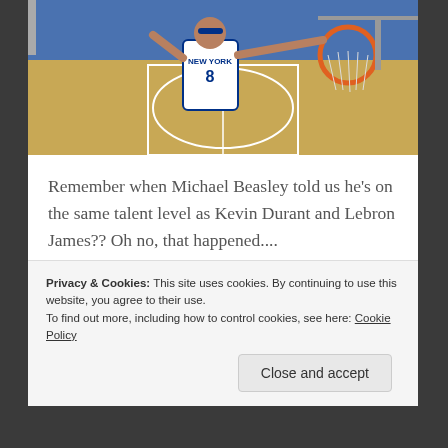[Figure (photo): Basketball player wearing New York Knicks jersey number 8, dunking near a basketball hoop, overhead/court view]
Remember when Michael Beasley told us he's on the same talent level as Kevin Durant and Lebron James?? Oh no, that happened....
“[It’s] mostly perception. As far as talent-wise, I match up with Kevin [Durant], LeBron, I match up with the best guys in the world.”
Privacy & Cookies: This site uses cookies. By continuing to use this website, you agree to their use.
To find out more, including how to control cookies, see here: Cookie Policy
Close and accept